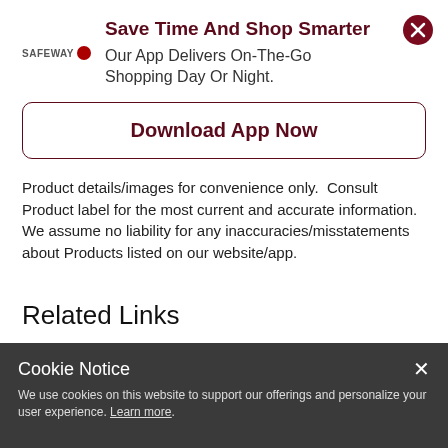Save Time And Shop Smarter
Our App Delivers On-The-Go Shopping Day Or Night.
Download App Now
Product details/images for convenience only.  Consult Product label for the most current and accurate information.  We assume no liability for any inaccuracies/misstatements about Products listed on our website/app.
Related Links
Cookie Notice
We use cookies on this website to support our offerings and personalize your user experience. Learn more.